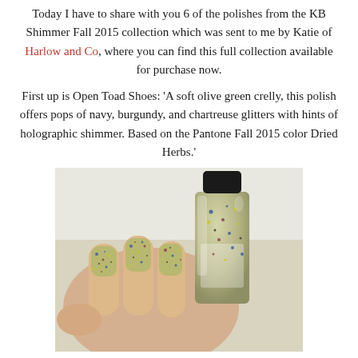Today I have to share with you 6 of the polishes from the KB Shimmer Fall 2015 collection which was sent to me by Katie of Harlow and Co, where you can find this full collection available for purchase now.
First up is Open Toad Shoes: 'A soft olive green crelly, this polish offers pops of navy, burgundy, and chartreuse glitters with hints of holographic shimmer. Based on the Pantone Fall 2015 color Dried Herbs.'
[Figure (photo): A close-up photo of a hand holding a nail polish bottle. The nails are painted with an olive green glitter polish with pops of navy, burgundy, and chartreuse glitters. The bottle contains the same olive green glitter polish with a black cap, labeled KB Shimmer.]